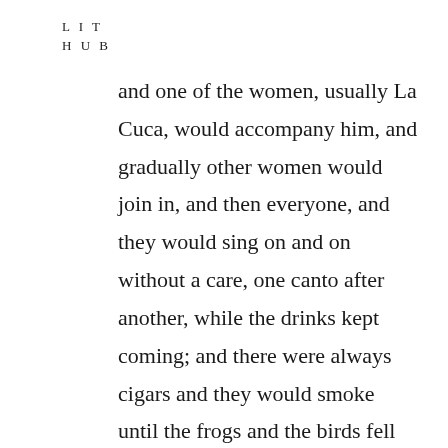LIT
HUB
and one of the women, usually La Cuca, would accompany him, and gradually other women would join in, and then everyone, and they would sing on and on without a care, one canto after another, while the drinks kept coming; and there were always cigars and they would smoke until the frogs and the birds fell silent, and in those moments you wanted to hug whoever was next to you, even if they were an ass, which they often were, and all was well,